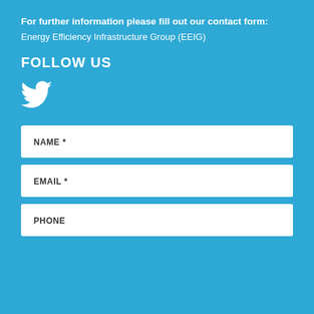For further information please fill out our contact form:
Energy Efficiency Infrastructure Group (EEIG)
FOLLOW US
[Figure (illustration): Twitter bird logo icon in white]
NAME *
EMAIL *
PHONE